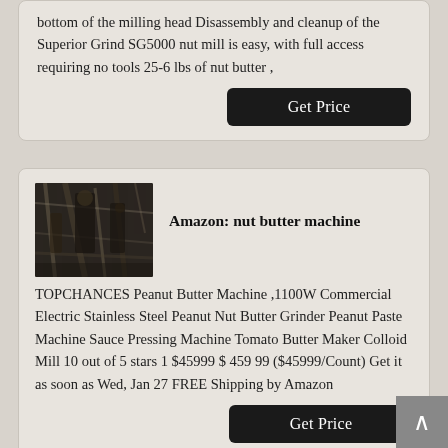bottom of the milling head Disassembly and cleanup of the Superior Grind SG5000 nut mill is easy, with full access requiring no tools 25-6 lbs of nut butter ,
Get Price
[Figure (photo): Industrial machinery or milling equipment, dark toned photograph]
Amazon: nut butter machine
TOPCHANCES Peanut Butter Machine ,1100W Commercial Electric Stainless Steel Peanut Nut Butter Grinder Peanut Paste Machine Sauce Pressing Machine Tomato Butter Maker Colloid Mill 10 out of 5 stars 1 $45999 $ 459 99 ($45999/Count) Get it as soon as Wed, Jan 27 FREE Shipping by Amazon
Get Price